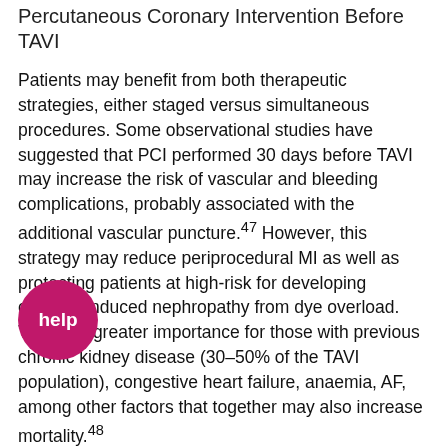Percutaneous Coronary Intervention Before TAVI
Patients may benefit from both therapeutic strategies, either staged versus simultaneous procedures. Some observational studies have suggested that PCI performed 30 days before TAVI may increase the risk of vascular and bleeding complications, probably associated with the additional vascular puncture.47 However, this strategy may reduce periprocedural MI as well as protecting patients at high-risk for developing contrast-induced nephropathy from dye overload. This is of greater importance for those with previous chronic kidney disease (30–50% of the TAVI population), congestive heart failure, anaemia, AF, among other factors that together may also increase mortality.48
Collectively, considering the absence of robust data and despite some apparently contradictory results, PCI seems to be safe before TAVI procedures in patients with severe CAD who are symptomatic (angina), or have acute coronary syndrome (ACS), or even have positive ischaemia tests (invasive or non-invasive), without a significant increase in the risk of complications with an improvement in the overall prognosis in selected cases.